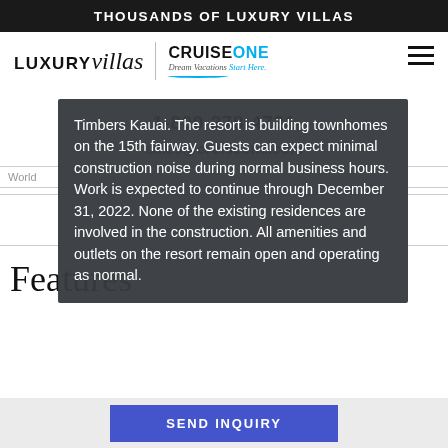THOUSANDS OF LUXURY VILLAS
[Figure (logo): LUXURYvillas | CruiseONE Dream Vacations Start Here logo with hamburger menu icon]
1-800-278-4731
sales@cruiseone.com
Timbers Kauai. The resort is building townhomes on the 15th fairway. Guests can expect minimal construction noise during normal business hours. Work is expected to continue through December 31, 2022. None of the existing residences are involved in the construction. All amenities and outlets on the resort remain open and operating as normal.
Features
SEND INQUIRY